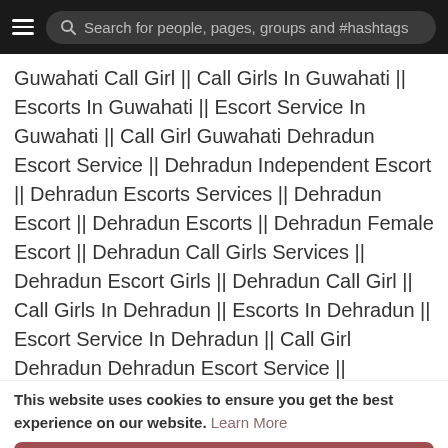Search for people, pages, groups and #hashtags
Guwahati Call Girl || Call Girls In Guwahati || Escorts In Guwahati || Escort Service In Guwahati || Call Girl Guwahati Dehradun Escort Service || Dehradun Independent Escort || Dehradun Escorts Services || Dehradun Escort || Dehradun Escorts || Dehradun Female Escort || Dehradun Call Girls Services || Dehradun Escort Girls || Dehradun Call Girl || Call Girls In Dehradun || Escorts In Dehradun || Escort Service In Dehradun || Call Girl Dehradun Dehradun Escort Service || Dehradun Independent Escort || Dehradun Escorts Services || Dehradun Escort || Dehradun Escorts || Dehradun Female Escort || Dehradun Call
This website uses cookies to ensure you get the best experience on our website. Learn More
Got It!